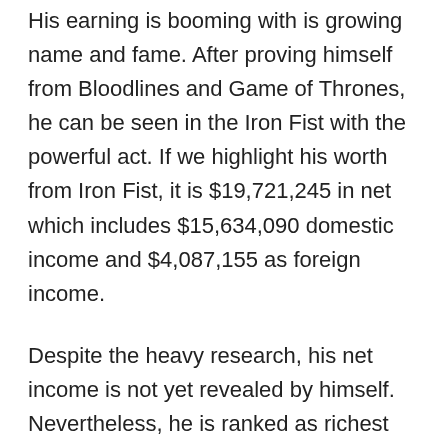His earning is booming with is growing name and fame. After proving himself from Bloodlines and Game of Thrones, he can be seen in the Iron Fist with the powerful act. If we highlight his worth from Iron Fist, it is $19,721,245 in net which includes $15,634,090 domestic income and $4,087,155 as foreign income.
Despite the heavy research, his net income is not yet revealed by himself. Nevertheless, he is ranked as richest celebrities in Hollywood with the estimated net worth 3 million. He owns an apartment in the United Kingdom.
Check out the moment he shared during Christmas in